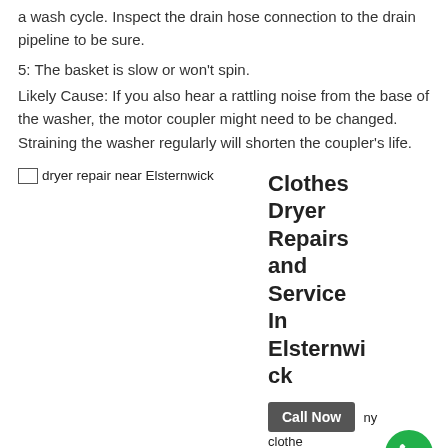a wash cycle. Inspect the drain hose connection to the drain pipeline to be sure.
5: The basket is slow or won't spin.
Likely Cause: If you also hear a rattling noise from the base of the washer, the motor coupler might need to be changed. Straining the washer regularly will shorten the coupler's life.
[Figure (photo): Broken image placeholder with alt text: dryer repair near Elsternwick]
Clothes Dryer Repairs and Service In Elsternwick
Call Now
ny clothe
terms